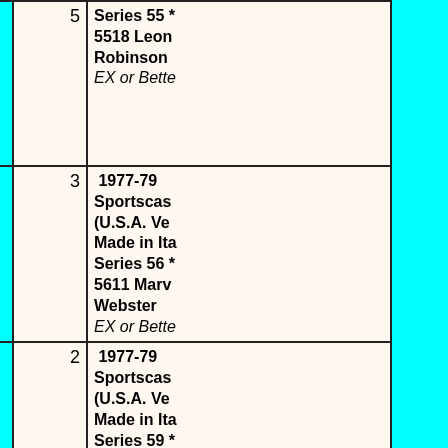| [image/lot] | [qty] | [description] |
| --- | --- | --- |
|  | 5 | Series 55 * 5518 Leon Robinson EX or Better |
|  | 3 | 1977-79 Sportscaster (U.S.A. Ver.) Made in Italy Series 56 * 5611 Marv Webster EX or Better |
|  | 2 | 1977-79 Sportscaster (U.S.A. Ver.) Made in Italy Series 59 * 5905 David Thompson EX or Better |
|  | 5 | 1977-79 Sportscaster (U.S.A. Ver.) Made in Italy Series 6 * The UCLA Dynasty (7... |